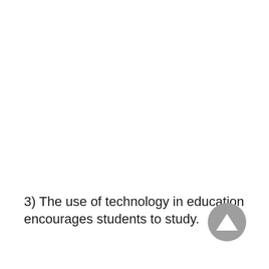3) The use of technology in education encourages students to study.